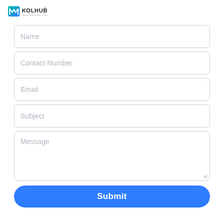[Figure (logo): KOLHUB logo with stylized M icon and text KOLHUB INFLUENCING YOU]
Name
Contact Number
Email
Subject
Message
Submit